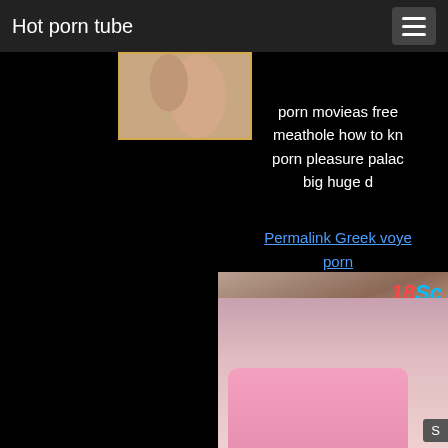Hot porn tube
[Figure (photo): Partial body thumbnail image with golden/yellow border]
porn movieas free meathole how to kn porn pleasure palac big huge d
Permalink Greek voye porn
[Figure (photo): 18Sc branded video thumbnail showing a young blonde woman in a pink shirt]